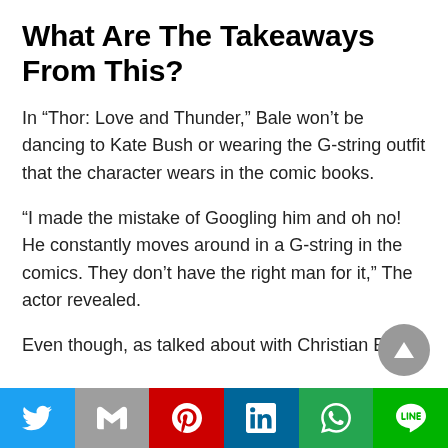What Are The Takeaways From This?
In “Thor: Love and Thunder,” Bale won’t be dancing to Kate Bush or wearing the G-string outfit that the character wears in the comic books.
“I made the mistake of Googling him and oh no! He constantly moves around in a G-string in the comics. They don’t have the right man for it,” The actor revealed.
Even though, as talked about with Christian Bale,
Twitter | Gmail | Pinterest | LinkedIn | WhatsApp | Line